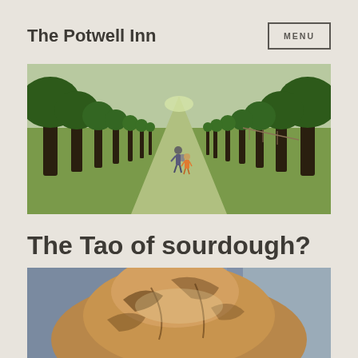The Potwell Inn
[Figure (photo): A tree-lined avenue path stretching into the distance with green grass and trees on both sides; two people (an adult and a child) walking away from the camera in the center of the path.]
The Tao of sourdough?
[Figure (photo): Close-up photograph of a large round sourdough bread loaf with a golden-brown crusty top, on a light surface with a blueish background.]